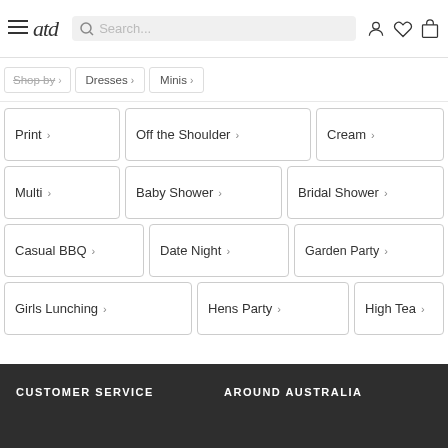atd — Search bar — user/wishlist/cart icons
Shop by >
Dresses >
Minis >
Print >
Off the Shoulder >
Cream >
Multi >
Baby Shower >
Bridal Shower >
Casual BBQ >
Date Night >
Garden Party >
Girls Lunching >
Hens Party >
High Tea >
CUSTOMER SERVICE    AROUND AUSTRALIA